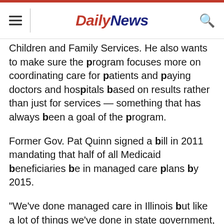Daily News
Children and Family Services. He also wants to make sure the program focuses more on coordinating care for patients and paying doctors and hospitals based on results rather than just for services — something that has always been a goal of the program.
Former Gov. Pat Quinn signed a bill in 2011 mandating that half of all Medicaid beneficiaries be in managed care plans by 2015.
"We've done managed care in Illinois but like a lot of things we've done in state government, it's kind of in name only," Rauner said.
Rauner said the state would slash the number of insurers involved in Medicaid managed care from 12